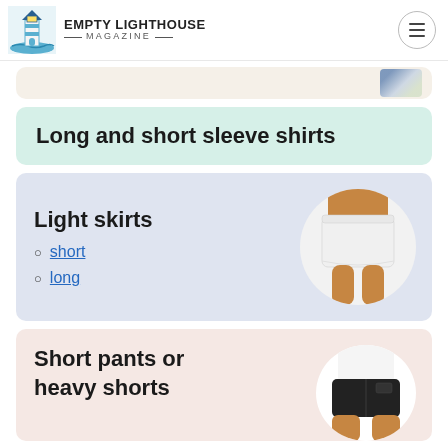EMPTY LIGHTHOUSE MAGAZINE
Long and short sleeve shirts
Light skirts
short
long
Short pants or heavy shorts